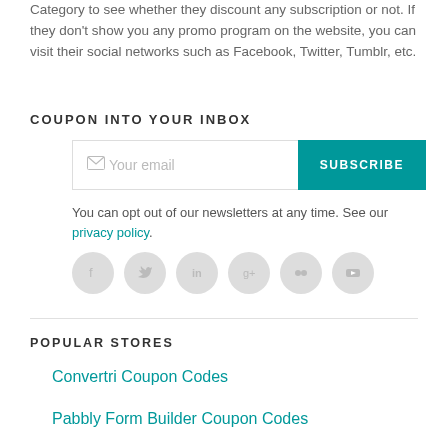Category to see whether they discount any subscription or not. If they don't show you any promo program on the website, you can visit their social networks such as Facebook, Twitter, Tumblr, etc.
COUPON INTO YOUR INBOX
[Figure (other): Email subscription form with input field and teal SUBSCRIBE button]
You can opt out of our newsletters at any time. See our privacy policy.
[Figure (other): Row of six circular grey social media icons: Facebook, Twitter, LinkedIn, Google+, Flickr, YouTube]
POPULAR STORES
Convertri Coupon Codes
Pabbly Form Builder Coupon Codes